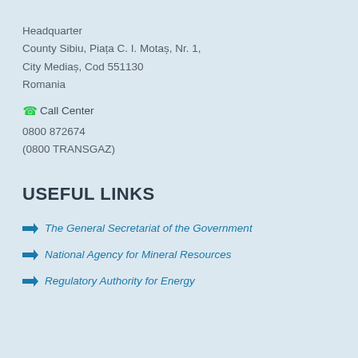Headquarter
County Sibiu, Piața C. I. Motaș, Nr. 1,
City Mediaș, Cod 551130
Romania
📞 Call Center
0800 872674
(0800 TRANSGAZ)
USEFUL LINKS
→ The General Secretariat of the Government
→ National Agency for Mineral Resources
→ Regulatory Authority for Energy